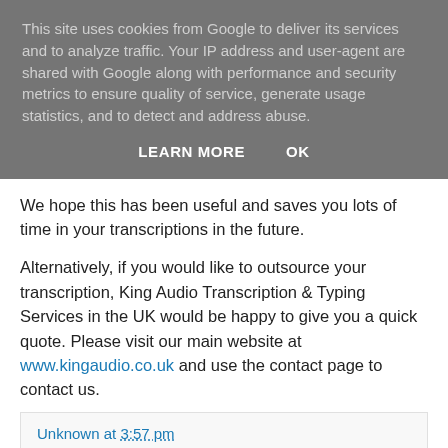This site uses cookies from Google to deliver its services and to analyze traffic. Your IP address and user-agent are shared with Google along with performance and security metrics to ensure quality of service, generate usage statistics, and to detect and address abuse.
LEARN MORE   OK
We hope this has been useful and saves you lots of time in your transcriptions in the future.
Alternatively, if you would like to outsource your transcription, King Audio Transcription & Typing Services in the UK would be happy to give you a quick quote. Please visit our main website at www.kingaudio.co.uk and use the contact page to contact us.
Unknown at 3:57 pm
Share